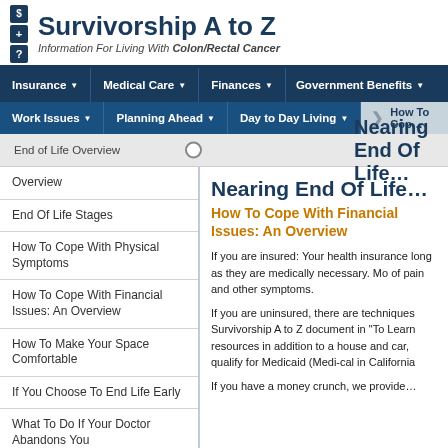Survivorship A to Z — Information For Living With Colon/Rectal Cancer
Insurance | Medical Care | Finances | Government Benefits | Work Issues | Planning Ahead | Day to Day Living | How To Cope...
Nearing End Of Life
How To Cope With Financial Issues: An Overview
Overview
End Of Life Stages
How To Cope With Physical Symptoms
How To Cope With Financial Issues: An Overview
How To Make Your Space Comfortable
If You Choose To End Life Early
What To Do If Your Doctor Abandons You
If You Are Likely To Be Hospitalized
If you are insured: Your health insurance long as they are medically necessary. Mo of pain and other symptoms.
If you are uninsured, there are techniques Survivorship A to Z document in "To Learn resources in addition to a house and car, qualify for Medicaid (Medi-cal in California
If you have a money crunch, we provide...